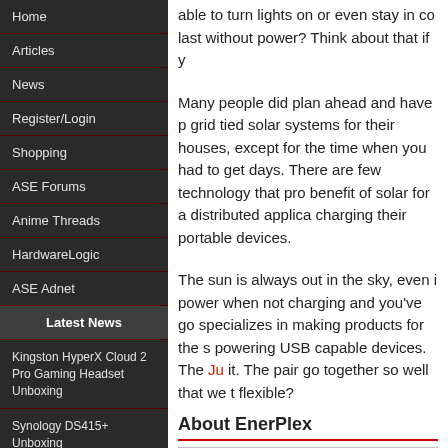Home
Articles
News
Register/Login
Shopping
ASE Forums
Anime Threads
HardwareLogic
ASE Adnet
Latest News
Kingston HyperX Cloud 2 Pro Gaming Headset Unboxing
Synology DS415+ Unboxing
D-Link DCS-5020L Wireless IP Pan/Tilt IP Camera
Actiontec WiFi Powerline Network Extender Kit Unboxing
Durovis Dive Unboxing
able to turn lights on or even stay in co last without power? Think about that if y
Many people did plan ahead and have p grid tied solar systems for their houses, except for the time when you had to get days. There are few technology that pro benefit of solar for a distributed applica charging their portable devices.
The sun is always out in the sky, even i power when not charging and you've go specializes in making products for the s powering USB capable devices. The Ju it. The pair go together so well that we t flexible?
About EnerPlex
Quote
EnerPlex represents the consumer side of Ascent S everyday. Through EnerPlex, Ascent has pivoted in 11.4% conversion efficiency, Ascent's solar module